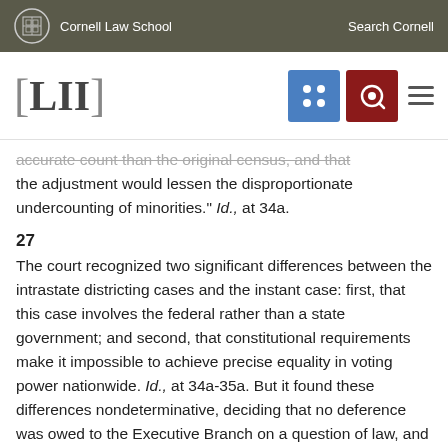Cornell Law School | Search Cornell
[LII]
accurate count than the original census, and that the adjustment would lessen the disproportionate undercounting of minorities." Id., at 34a.
27
The court recognized two significant differences between the intrastate districting cases and the instant case: first, that this case involves the federal rather than a state government; and second, that constitutional requirements make it impossible to achieve precise equality in voting power nationwide. Id., at 34a-35a. But it found these differences nondeterminative, deciding that no deference was owed to the Executive Branch on a question of law, and that the "impossibility of